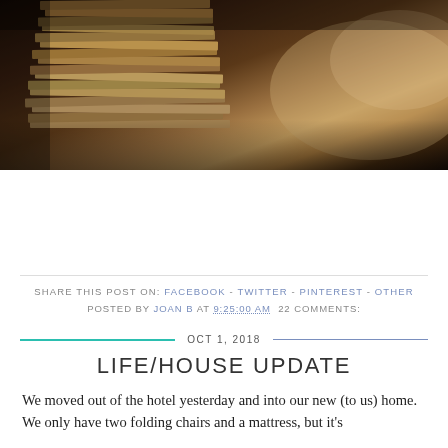[Figure (photo): Stack of folded cardboard/newspapers on a dark wooden floor, photographed in dim warm lighting.]
SHARE THIS POST ON: FACEBOOK - TWITTER - PINTEREST - OTHER
POSTED BY JOAN B AT 9:25:00 AM  22 COMMENTS:
OCT 1, 2018
LIFE/HOUSE UPDATE
We moved out of the hotel yesterday and into our new (to us) home. We only have two folding chairs and a mattress, but it's